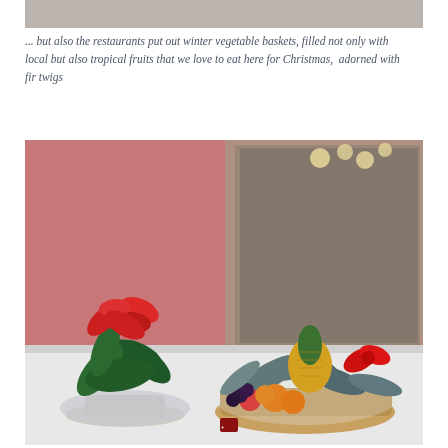[Figure (photo): Top portion of a photo, partially cropped, showing what appears to be a restaurant or indoor setting.]
... but also the restaurants put out winter vegetable baskets, filled not only with local but also tropical fruits that we love to eat here for Christmas,  adorned with fir twigs
[Figure (photo): A restaurant display showing a red poinsettia plant on the left and a fruit basket on the right containing a pineapple and other fruits, decorated with fir twigs and a red bow, set on a white table with a pink wall background and a mirrored display case in the background.]